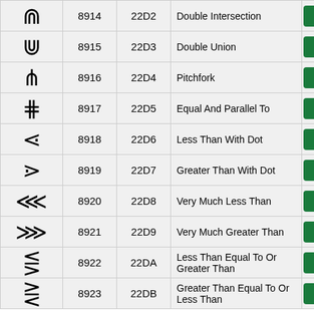| Symbol | Dec | Hex | Name | Copy |
| --- | --- | --- | --- | --- |
| ⋒ | 8914 | 22D2 | Double Intersection | Copy |
| ⋓ | 8915 | 22D3 | Double Union | Copy |
| ⋔ | 8916 | 22D4 | Pitchfork | Copy |
| ⋕ | 8917 | 22D5 | Equal And Parallel To | Copy |
| ⋖ | 8918 | 22D6 | Less Than With Dot | Copy |
| ⋗ | 8919 | 22D7 | Greater Than With Dot | Copy |
| ⋘ | 8920 | 22D8 | Very Much Less Than | Copy |
| ⋙ | 8921 | 22D9 | Very Much Greater Than | Copy |
| ⋚ | 8922 | 22DA | Less Than Equal To Or Greater Than | Copy |
| ⋛ | 8923 | 22DB | Greater Than Equal To Or Less Than | Copy |